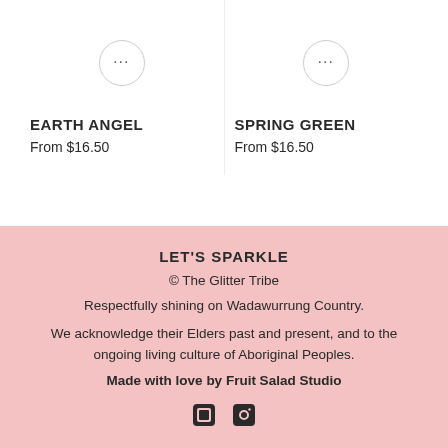EARTH ANGEL
From $16.50
SPRING GREEN
From $16.50
LET'S SPARKLE
© The Glitter Tribe
Respectfully shining on Wadawurrung Country.
We acknowledge their Elders past and present, and to the ongoing living culture of Aboriginal Peoples.
Made with love by Fruit Salad Studio